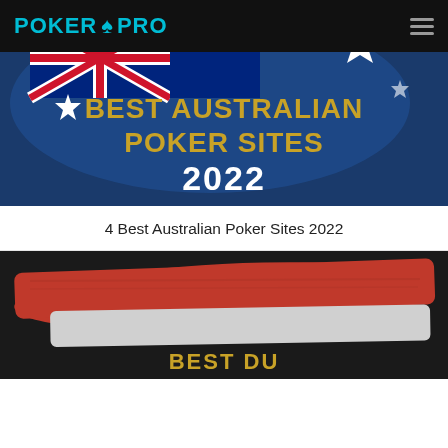POKER PRO
[Figure (illustration): Best Australian Poker Sites 2022 banner image featuring Australian flag with blue background, red/white flag details, white star, and gold/white text reading 'BEST AUSTRALIAN POKER SITES 2022']
4 Best Australian Poker Sites 2022
[Figure (illustration): Best Dutch (poker sites) banner image featuring a red and white painted brushstroke flag on dark/black background with partial gold text visible at bottom reading 'BEST DU...']